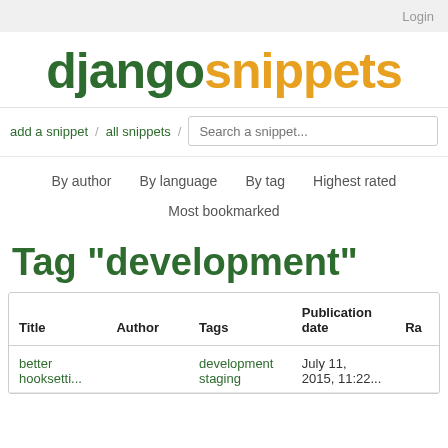Login
djangosnippets
add a snippet / all snippets / Search a snippet...
By author  By language  By tag  Highest rated
Most bookmarked
Tag "development"
| Title | Author | Tags | Publication date | Ra |
| --- | --- | --- | --- | --- |
| better
hooksetti... |  | development
staging | July 11,
2015, 11:22... |  |